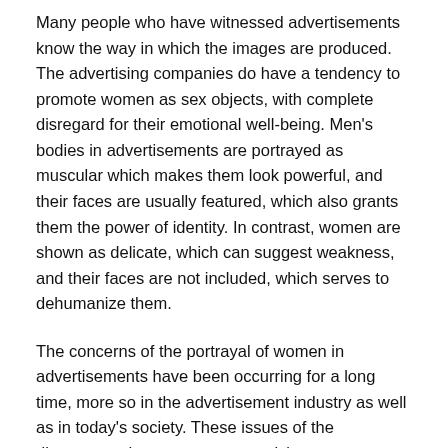Many people who have witnessed advertisements know the way in which the images are produced. The advertising companies do have a tendency to promote women as sex objects, with complete disregard for their emotional well-being. Men's bodies in advertisements are portrayed as muscular which makes them look powerful, and their faces are usually featured, which also grants them the power of identity. In contrast, women are shown as delicate, which can suggest weakness, and their faces are not included, which serves to dehumanize them.
The concerns of the portrayal of women in advertisements have been occurring for a long time, more so in the advertisement industry as well as in today's society. These issues of the discourtesy that women are receiving are not acceptable and should